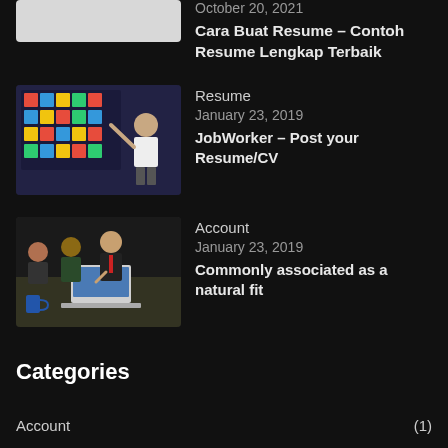October 20, 2021
Cara Buat Resume – Contoh Resume Lengkap Terbaik
[Figure (photo): A woman presenting in front of a board with colorful sticky notes]
Resume
January 23, 2019
JobWorker – Post your Resume/CV
[Figure (photo): Business professionals looking at a laptop together]
Account
January 23, 2019
Commonly associated as a natural fit
Categories
Account (1)
Administration (2)